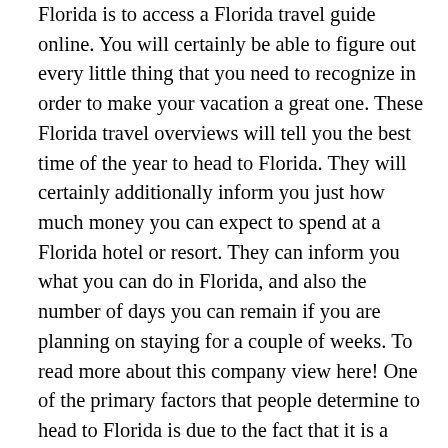Florida is to access a Florida travel guide online. You will certainly be able to figure out every little thing that you need to recognize in order to make your vacation a great one. These Florida travel overviews will tell you the best time of the year to head to Florida. They will certainly additionally inform you just how much money you can expect to spend at a Florida hotel or resort. They can inform you what you can do in Florida, and also the number of days you can remain if you are planning on staying for a couple of weeks. To read more about this company view here! One of the primary factors that people determine to head to Florida is due to the fact that it is a popular destination. If you look online at the time of year that you wish to most likely to Florida, you can rapidly contrast times with other individuals that have been to Florida in the past. You can additionally consider general expense to plan your journey, including air travel and also rental vehicle costs. These online sources can assist you make the most effective decision regarding the very best time to go to Florida. See page and click for more details now! The summer season is a prominent time to go to Florida because the climate is entering during No...